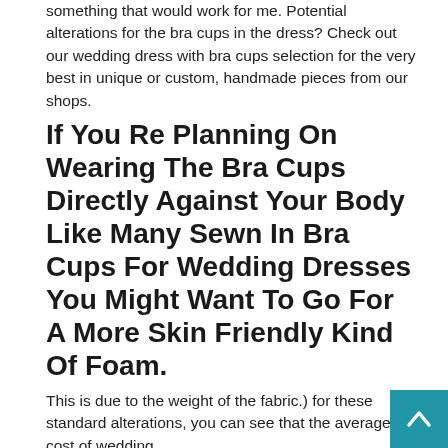something that would work for me. Potential alterations for the bra cups in the dress? Check out our wedding dress with bra cups selection for the very best in unique or custom, handmade pieces from our shops.
If You Re Planning On Wearing The Bra Cups Directly Against Your Body Like Many Sewn In Bra Cups For Wedding Dresses You Might Want To Go For A More Skin Friendly Kind Of Foam.
This is due to the weight of the fabric.) for these standard alterations, you can see that the average cost of wedding